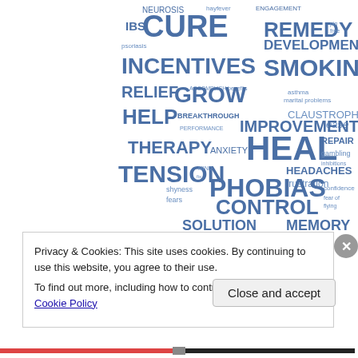[Figure (other): Word cloud shaped like a head/silhouette containing mental/physical health related words in varying sizes and shades of blue. Words include: NEUROSIS, hayfever, ENGAGEMENT, IBS, CURE, REMEDY, pin, free, psoriasis, DEVELOPMENT, INCENTIVES, SMOKING, RELIEF, ACCOMPLISH, benefits, GROW, asthma, marital problems, HELP, CLAUSTROPHOBIA, ease, BREAKTHROUGH, PERFORMANCE, IMPROVEMENT..., THERAPY, ANXIETY, HEAL, REPAIR, TENSION, gambling, inhibitions, MIND, fix, PHOBIAS, HEADACHES, frustration, shyness, confidence, fears, CONTROL, fear of flying, SOLUTION, MEMORY, RELIEVE, HEALTH, PROGRESS, TRUST, ENRICHMENT, OPTIMISM, MIGRAINE, compulsions, STRESS, PANIC ATTACKS, weight, DEPRESSION]
Privacy & Cookies: This site uses cookies. By continuing to use this website, you agree to their use.
To find out more, including how to control cookies, see here: Cookie Policy
Close and accept